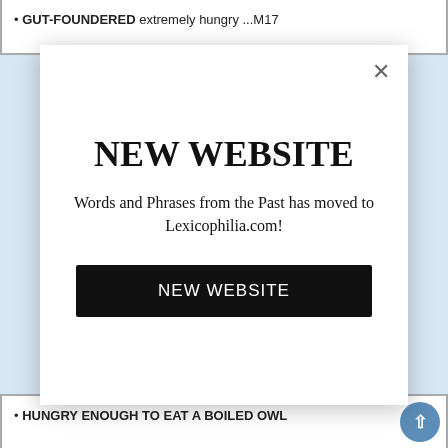GUT-FOUNDERED extremely hungry ...M17
NEW WEBSITE
Words and Phrases from the Past has moved to Lexicophilia.com!
NEW WEBSITE
HUNGRY ENOUGH TO EAT A BOILED OWL